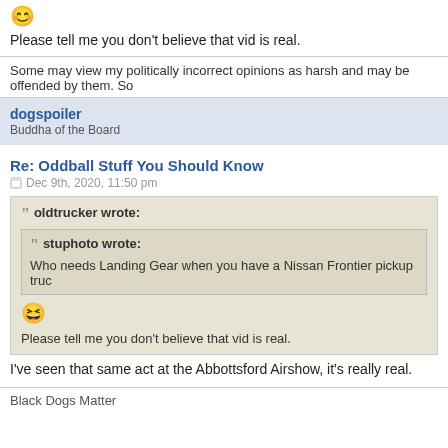[Figure (illustration): Laughing emoji / smiley face icon]
Please tell me you don't believe that vid is real.
Some may view my politically incorrect opinions as harsh and may be offended by them. So
dogspoiler
Buddha of the Board
Re: Oddball Stuff You Should Know
Dec 9th, 2020, 11:50 pm
oldtrucker wrote:
stuphoto wrote:
Who needs Landing Gear when you have a Nissan Frontier pickup truc
[Figure (illustration): Laughing emoji face]
Please tell me you don't believe that vid is real.
I've seen that same act at the Abbottsford Airshow, it's really real.
Black Dogs Matter